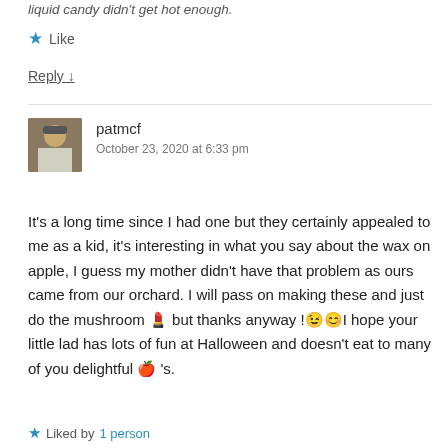liquid candy didn't get hot enough.
★ Like
Reply ↓
[Figure (photo): Avatar photo of commenter patmcf — person wearing glasses and cap]
patmcf
October 23, 2020 at 6:33 pm
It's a long time since I had one but they certainly appealed to me as a kid, it's interesting in what you say about the wax on apple, I guess my mother didn't have that problem as ours came from our orchard. I will pass on making these and just do the mushroom 👄 but thanks anyway !😉😊I hope your little lad has lots of fun at Halloween and doesn't eat to many of you delightful 🍎 's.
★ Liked by 1 person